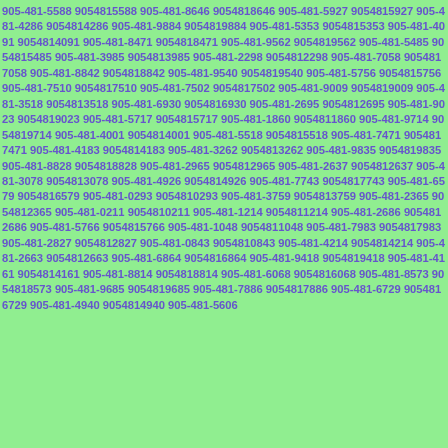905-481-5588 9054815588 905-481-8646 9054818646 905-481-5927 9054815927 905-481-4286 9054814286 905-481-9884 9054819884 905-481-5353 9054815353 905-481-4091 9054814091 905-481-8471 9054818471 905-481-9562 9054819562 905-481-5485 9054815485 905-481-3985 9054813985 905-481-2298 9054812298 905-481-7058 9054817058 905-481-8842 9054818842 905-481-9540 9054819540 905-481-5756 9054815756 905-481-7510 9054817510 905-481-7502 9054817502 905-481-9009 9054819009 905-481-3518 9054813518 905-481-6930 9054816930 905-481-2695 9054812695 905-481-9023 9054819023 905-481-5717 9054815717 905-481-1860 9054811860 905-481-9714 9054819714 905-481-4001 9054814001 905-481-5518 9054815518 905-481-7471 9054817471 905-481-4183 9054814183 905-481-3262 9054813262 905-481-9835 9054819835 905-481-8828 9054818828 905-481-2965 9054812965 905-481-2637 9054812637 905-481-3078 9054813078 905-481-4926 9054814926 905-481-7743 9054817743 905-481-6579 9054816579 905-481-0293 9054810293 905-481-3759 9054813759 905-481-2365 9054812365 905-481-0211 9054810211 905-481-1214 9054811214 905-481-2686 9054812686 905-481-5766 9054815766 905-481-1048 9054811048 905-481-7983 9054817983 905-481-2827 9054812827 905-481-0843 9054810843 905-481-4214 9054814214 905-481-2663 9054812663 905-481-6864 9054816864 905-481-9418 9054819418 905-481-4161 9054814161 905-481-8814 9054818814 905-481-6068 9054816068 905-481-8573 9054818573 905-481-9685 9054819685 905-481-7886 9054817886 905-481-6729 9054816729 905-481-4940 9054814940 905-481-5606